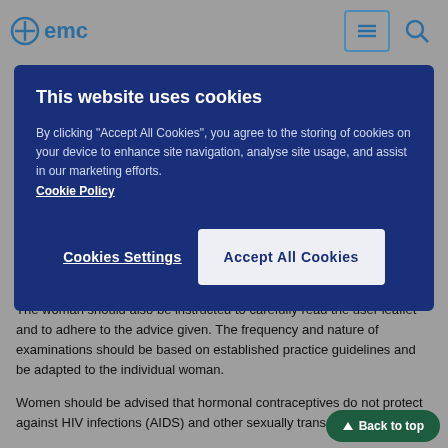emc
This website uses cookies
By clicking "Accept All Cookies", you agree to the storing of cookies on your device to enhance site navigation, analyse site usage, and assist in our marketing efforts.
Cookie Policy
Cookies Settings
Accept All Cookies
The woman should also be instructed to carefully read the user leaflet and to adhere to the advice given. The frequency and nature of examinations should be based on established practice guidelines and be adapted to the individual woman.
Women should be advised that hormonal contraceptives do not protect against HIV infections (AIDS) and other sexually transmitted diseases.
Undiagnosed vaginal bleeding that is suspicious for underlying conditions should be investigated.
Conditions which require strict medical supervision
The decision to prescribe the COC must be made using clinical judgement